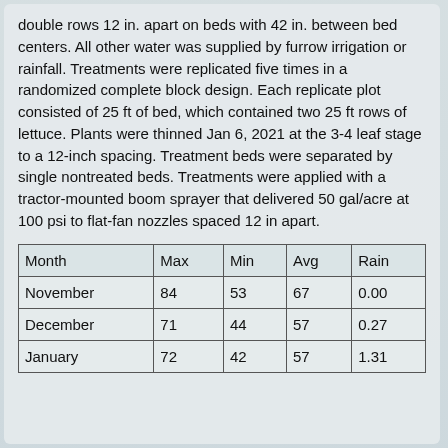double rows 12 in. apart on beds with 42 in. between bed centers. All other water was supplied by furrow irrigation or rainfall. Treatments were replicated five times in a randomized complete block design. Each replicate plot consisted of 25 ft of bed, which contained two 25 ft rows of lettuce. Plants were thinned Jan 6, 2021 at the 3-4 leaf stage to a 12-inch spacing. Treatment beds were separated by single nontreated beds. Treatments were applied with a tractor-mounted boom sprayer that delivered 50 gal/acre at 100 psi to flat-fan nozzles spaced 12 in apart.
| Month | Max | Min | Avg | Rain |
| --- | --- | --- | --- | --- |
| November | 84 | 53 | 67 | 0.00 |
| December | 71 | 44 | 57 | 0.27 |
| January | 72 | 42 | 57 | 1.31 |